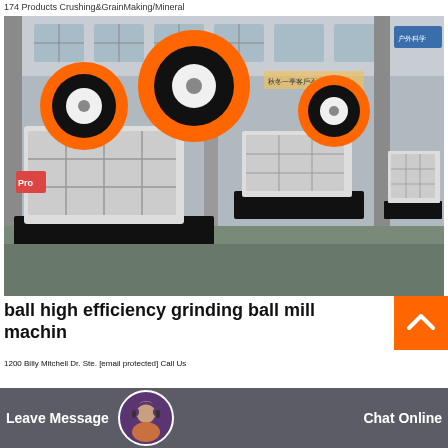174 Products Crushing&GrainMaking/Mineral
[Figure (photo): Industrial jaw crushers on black steel bases in a large factory/warehouse setting. Multiple white machines with large orange-and-black flywheels visible. Background shows factory columns and Chinese signage.]
ball high efficiency grinding ball mill machin
1200 Billy Mitchell Dr. Ste. [email protected] Call Us
Leave Message   Chat Online